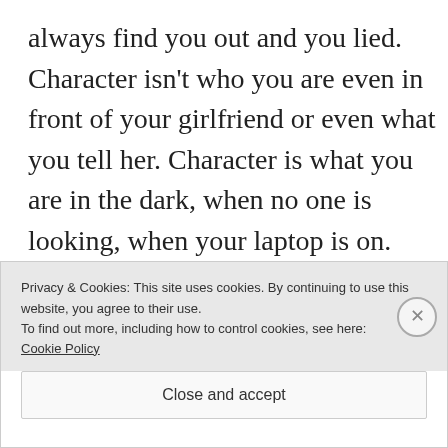always find you out and you lied. Character isn't who you are even in front of your girlfriend or even what you tell her. Character is what you are in the dark, when no one is looking, when your laptop is on.
You are wrong in bringing this into our relationship in the first place. You already had a relationship that was wrong–a
Privacy & Cookies: This site uses cookies. By continuing to use this website, you agree to their use.
To find out more, including how to control cookies, see here: Cookie Policy
Close and accept